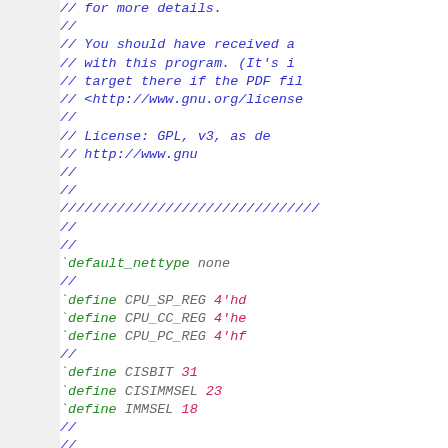// for more details.
//
// You should have received a
// with this program. (It's i
// target there if the PDF fil
// <http://www.gnu.org/license
//
// License:    GPL, v3, as de
//             http://www.gnu
//
//
////////////////////////////
//
//
`default_nettype none
//
`define CPU_SP_REG 4'hd
`define CPU_CC_REG 4'he
`define CPU_PC_REG 4'hf
//
`define CISBIT   31
`define CISIMMSEL 23
`define IMMSEL   18
//
//
//
module idecode(i_clk, i_reset